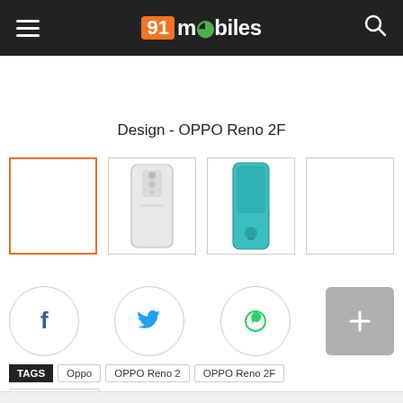91 mobiles
Design - OPPO Reno 2F
[Figure (photo): Four thumbnail images of OPPO Reno 2F phone designs: first (active/selected, orange border) blank, second showing rear in white, third showing side profile in teal, fourth blank/empty]
[Figure (infographic): Social sharing buttons row: Facebook (f), Twitter bird, WhatsApp, and a grey plus button]
TAGS  Oppo  OPPO Reno 2  OPPO Reno 2F  OPPO Reno 2Z